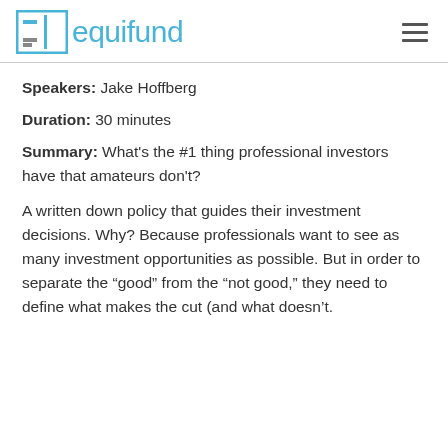equifund
Speakers: Jake Hoffberg
Duration: 30 minutes
Summary: What's the #1 thing professional investors have that amateurs don't?
A written down policy that guides their investment decisions. Why? Because professionals want to see as many investment opportunities as possible. But in order to separate the “good” from the “not good,” they need to define what makes the cut (and what doesn’t.